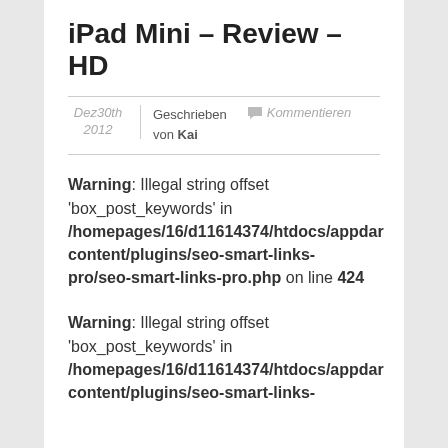iPad Mini – Review – HD
Dez30th 2012 | Geschrieben von Kai | Kommentieren
Warning: Illegal string offset 'box_post_keywords' in /homepages/16/d11614374/htdocs/appdamlcontent/plugins/seo-smart-links-pro/seo-smart-links-pro.php on line 424
Warning: Illegal string offset 'box_post_keywords' in /homepages/16/d11614374/htdocs/appdamlcontent/plugins/seo-smart-links-